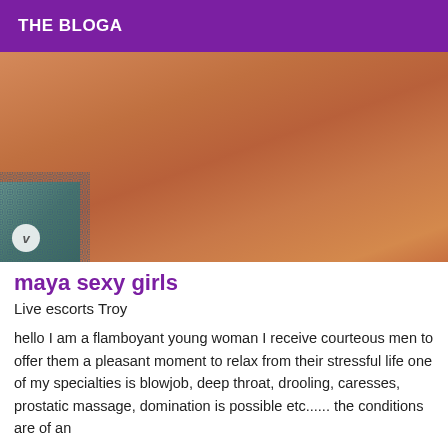THE BLOGA
[Figure (photo): Close-up photo of a person's body, with a watermark logo in the bottom left corner.]
maya sexy girls
Live escorts Troy
hello I am a flamboyant young woman I receive courteous men to offer them a pleasant moment to relax from their stressful life one of my specialties is blowjob, deep throat, drooling, caresses, prostatic massage, domination is possible etc...... the conditions are of an